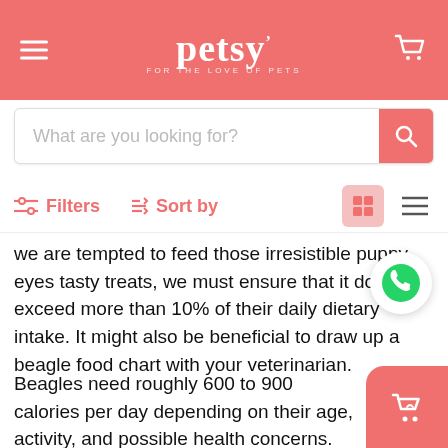petsy FOR THE LOVE OF PETS
What are you looking for?
Filters  Sort by
we are tempted to feed those irresistible puppy eyes tasty treats, we must ensure that it doesn't exceed more than 10% of their daily dietary intake. It might also be beneficial to draw up a beagle food chart with your veterinarian.
Beagles need roughly 600 to 900 calories per day depending on their age, activity, and possible health concerns. Beagle puppies need more calories because their bodies require more energy to grow, whilst Beagles require fewer calories owing to their sedentary lifestyle.